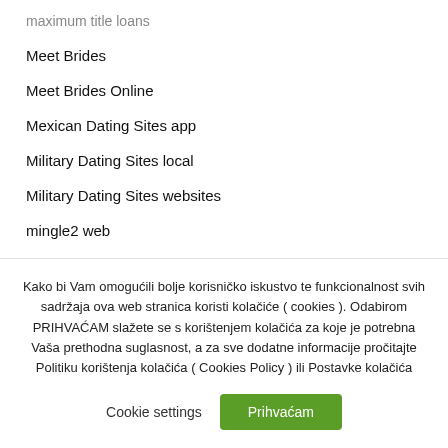maximum title loans
Meet Brides
Meet Brides Online
Mexican Dating Sites app
Military Dating Sites local
Military Dating Sites websites
mingle2 web
montreal sugar daddy ads
Kako bi Vam omogućili bolje korisničko iskustvo te funkcionalnost svih sadržaja ova web stranica koristi kolačiće ( cookies ). Odabirom PRIHVAĆAM slažete se s korištenjem kolačića za koje je potrebna Vaša prethodna suglasnost, a za sve dodatne informacije pročitajte Politiku korištenja kolačića ( Cookies Policy ) ili Postavke kolačića
Cookie settings
Prihvaćam